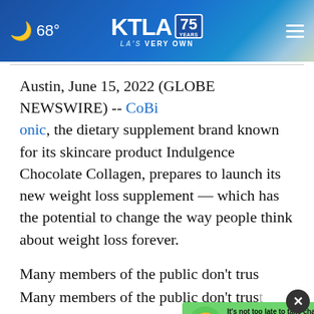[Figure (screenshot): KTLA 75 Years LA's Very Own website header bar with moon icon, 68° weather, KTLA logo with 75 years badge, LA'S VERY OWN tagline, and hamburger menu. Also palm tree background on right side.]
Austin, June 15, 2022 (GLOBE NEWSWIRE) -- CoBionic, the dietary supplement brand known for its skincare product Indulgence Chocolate Collagen, prepares to launch its new weight loss supplement — which has the potential to change the way people think about weight loss forever.
Many members of the public don't trust supplements because they believe their products are overhyped by marketers and
[Figure (screenshot): AARP advertisement banner: green background with cartoon face, text 'It's not too late to take charge of your retirement. Get your top 3 tips →', Ad Council logo, AARP logo, and sun icon. Close (X) button in dark circle.]